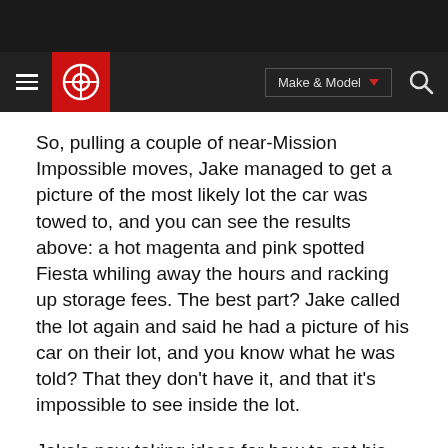[Figure (screenshot): Website navigation header bar with dark background, red logo with circular icon, Make & Model dropdown button, and search icon]
So, pulling a couple of near-Mission Impossible moves, Jake managed to get a picture of the most likely lot the car was towed to, and you can see the results above: a hot magenta and pink spotted Fiesta whiling away the hours and racking up storage fees. The best part? Jake called the lot again and said he had a picture of his car on their lot, and you know what he was told? That they don't have it, and that it's impossible to see inside the lot.
Jake's now taking ideas for how to get his car back. If the NYPD won't even admit having it, and Ford can't use the tracking device to prove it's there, then the idea we like